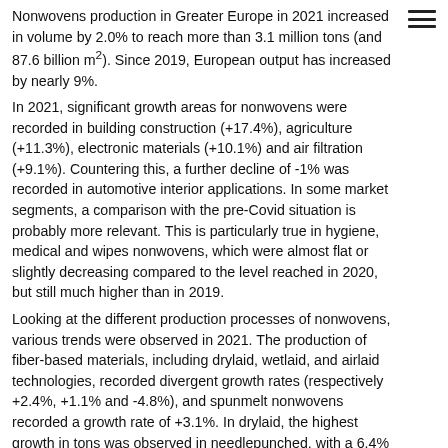Nonwovens production in Greater Europe in 2021 increased in volume by 2.0% to reach more than 3.1 million tons (and 87.6 billion m²). Since 2019, European output has increased by nearly 9%.
In 2021, significant growth areas for nonwovens were recorded in building construction (+17.4%), agriculture (+11.3%), electronic materials (+10.1%) and air filtration (+9.1%). Countering this, a further decline of -1% was recorded in automotive interior applications. In some market segments, a comparison with the pre-Covid situation is probably more relevant. This is particularly true in hygiene, medical and wipes nonwovens, which were almost flat or slightly decreasing compared to the level reached in 2020, but still much higher than in 2019.
Looking at the different production processes of nonwovens, various trends were observed in 2021. The production of fiber-based materials, including drylaid, wetlaid, and airlaid technologies, recorded divergent growth rates (respectively +2.4%, +1.1% and -4.8%), and spunmelt nonwovens recorded a growth rate of +3.1%. In drylaid, the highest growth in tons was observed in needlepunched, with a 6.4% increase. The production of drylaid-hydroentangled, which peaked in 2020, was at the same level a year later.
Further statistical detail and analysis is available in the report